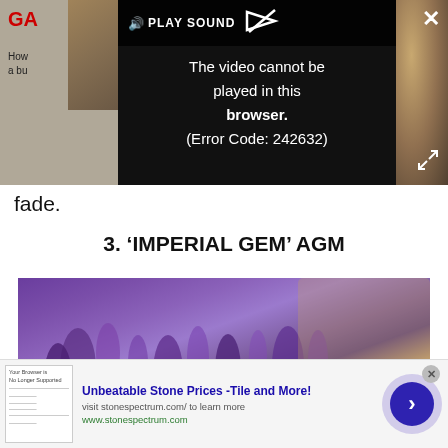[Figure (screenshot): Video player overlay with dark background showing error message 'The video cannot be played in this browser. (Error Code: 242632)' and a PLAY SOUND bar at top. Left side shows partial article thumbnail with red 'GA' text.]
fade.
3. ‘IMPERIAL GEM’ AGM
[Figure (photo): Close-up photo of purple lavender flowers in bloom with blurred background.]
[Figure (screenshot): Advertisement banner: 'Unbeatable Stone Prices -Tile and More!' with description 'visit stonespectrum.com/ to learn more' and URL 'www.stonespectrum.com'. Includes thumbnail image and arrow button.]